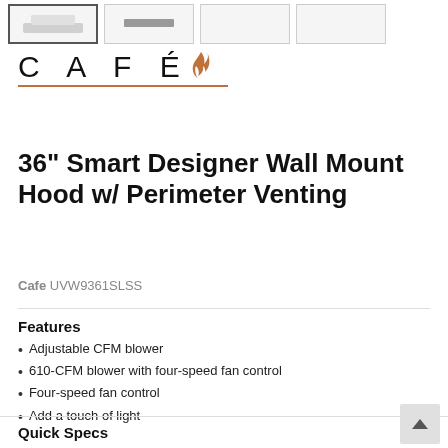[Figure (photo): Row of four product thumbnail images for the Cafe wall mount hood. First thumbnail is selected/highlighted.]
[Figure (logo): Cafe brand logo with stylized text 'CAFE' and a flame icon, with a copper/gold underline]
36" Smart Designer Wall Mount Hood w/ Perimeter Venting
Cafe UVW9361SLSS
Features
Adjustable CFM blower
610-CFM blower with four-speed fan control
Four-speed fan control
Add a touch of light
Quick Specs